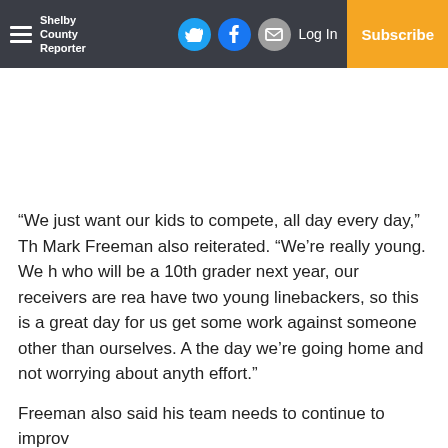Shelby County Reporter | Log In | Subscribe
“We just want our kids to compete, all day every day,” Th Mark Freeman also reiterated. “We’re really young. We h who will be a 10th grader next year, our receivers are rea have two young linebackers, so this is a great day for us get some work against someone other than ourselves. A the day we’re going home and not worrying about anyth effort.”
Freeman also said his team needs to continue to improv